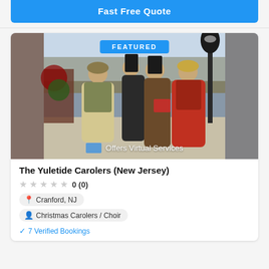Fast Free Quote
[Figure (photo): Four Christmas carolers in Victorian period costumes standing outdoors near a lamppost and waterway, with a 'FEATURED' badge and 'Offers Virtual Services' overlay text.]
The Yuletide Carolers (New Jersey)
0 (0)
Cranford, NJ
Christmas Carolers / Choir
7 Verified Bookings